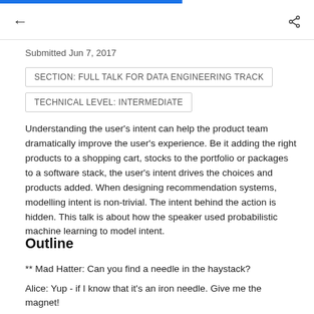← (back arrow) | (share icon)
Submitted Jun 7, 2017
SECTION: FULL TALK FOR DATA ENGINEERING TRACK
TECHNICAL LEVEL: INTERMEDIATE
Understanding the user's intent can help the product team dramatically improve the user's experience. Be it adding the right products to a shopping cart, stocks to the portfolio or packages to a software stack, the user's intent drives the choices and products added. When designing recommendation systems, modelling intent is non-trivial. The intent behind the action is hidden. This talk is about how the speaker used probabilistic machine learning to model intent.
Outline
** Mad Hatter: Can you find a needle in the haystack?
Alice: Yup - if I know that it's an iron needle. Give me the magnet!